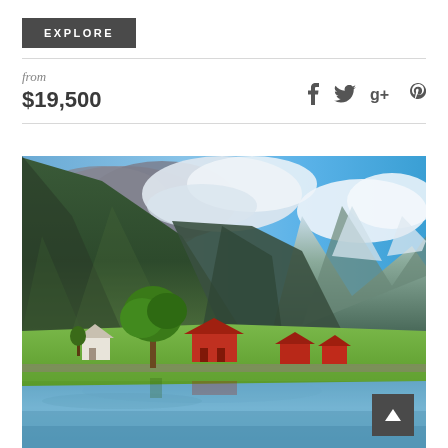EXPLORE
from
$19,500
[Figure (photo): Scenic Norwegian fjord landscape with green mountains, red farmhouses on a flat green peninsula beside a calm reflective lake, large leafy tree, snow-capped peaks in background, partly cloudy blue sky. A back-to-top arrow button is visible in the bottom-right corner.]